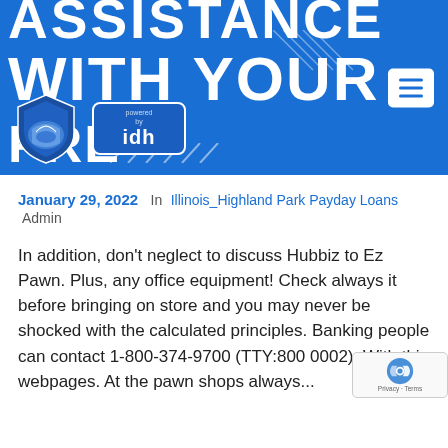[Figure (screenshot): Blue header banner with large white text reading 'ASSISTANCE WITH YOUR PRE...' and a shield logo with face mask, IDH powered badge, and hamburger menu icon]
January 29, 2022  In Illinois_Highland Park Payday Loans Admin
In addition, don't neglect to discuss Hubbiz to Ez Pawn. Plus, any office equipment! Check always it before bringing on store and you may never be shocked with the calculated principles. Banking people can contact 1-800-374-9700 (TTY:800 0002). With this webpages. At the pawn shops always...